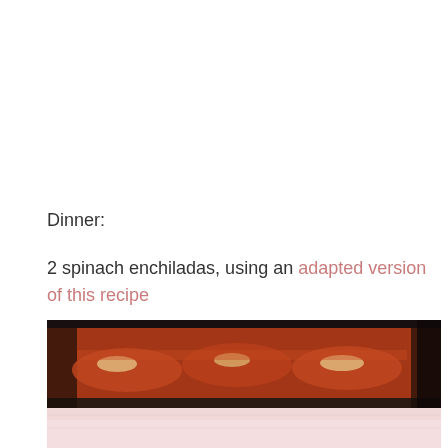Dinner:
2 spinach enchiladas, using an adapted version of this recipe
[Figure (photo): Baking dish with spinach enchiladas covered in red sauce and melted cheese, with a pinkish-white background at the bottom]